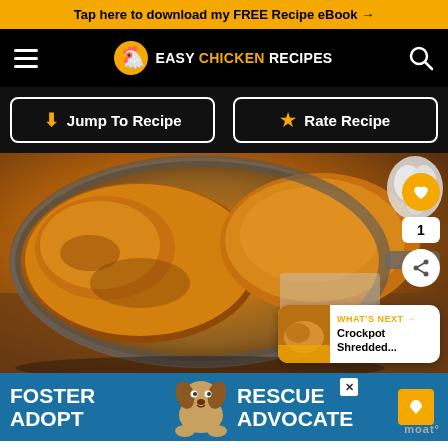Tap here to download my FREE Recipe eBook →
[Figure (logo): Easy Chicken Recipes logo with chicken icon and navigation hamburger and search icons on black background]
Jump To Recipe | Rate Recipe
[Figure (photo): Photo of golden-brown roasted chicken pieces in a cast iron pan, with garlic and vegetables in the background. Social share icons on right side including heart/save and share buttons. 'What's Next' preview card showing Crockpot Shredded... recipe.]
[Figure (photo): Advertisement banner for Foster, Adopt, Advocate with a beagle dog photo on blue background]